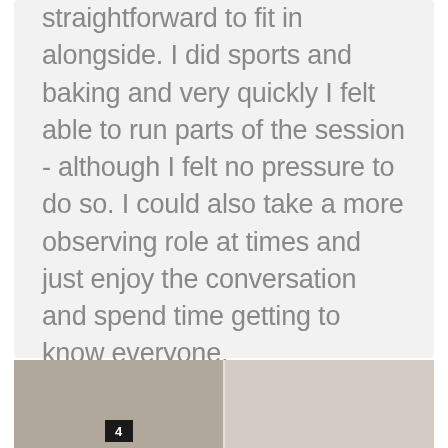straightforward to fit in alongside. I did sports and baking and very quickly I felt able to run parts of the session - although I felt no pressure to do so. I could also take a more observing role at times and just enjoy the conversation and spend time getting to know everyone.
Dan
[Figure (photo): Bottom strip showing what appears to be a kitchen or room interior, with a page number label '4' visible on the left side]